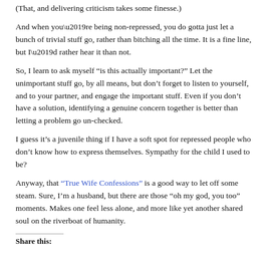(That, and delivering criticism takes some finesse.)
And when you’re being non-repressed, you do gotta just let a bunch of trivial stuff go, rather than bitching all the time. It is a fine line, but I’d rather hear it than not.
So, I learn to ask myself “is this actually important?” Let the unimportant stuff go, by all means, but don’t forget to listen to yourself, and to your partner, and engage the important stuff. Even if you don’t have a solution, identifying a genuine concern together is better than letting a problem go un-checked.
I guess it’s a juvenile thing if I have a soft spot for repressed people who don’t know how to express themselves. Sympathy for the child I used to be?
Anyway, that “True Wife Confessions” is a good way to let off some steam. Sure, I’m a husband, but there are those “oh my god, you too” moments. Makes one feel less alone, and more like yet another shared soul on the riverboat of humanity.
Share this: